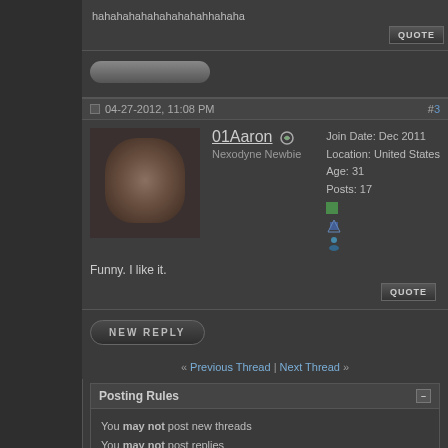hahahahahahahahahahhahaha
04-27-2012, 11:08 PM
#3
01Aaron
Nexodyne Newbie
Join Date: Dec 2011
Location: United States
Age: 31
Posts: 17
Funny. I like it.
NEW REPLY
« Previous Thread | Next Thread »
Posting Rules
You may not post new threads
You may not post replies
You may not post attachments
You may not edit your posts
vB code is On
Smilies are On